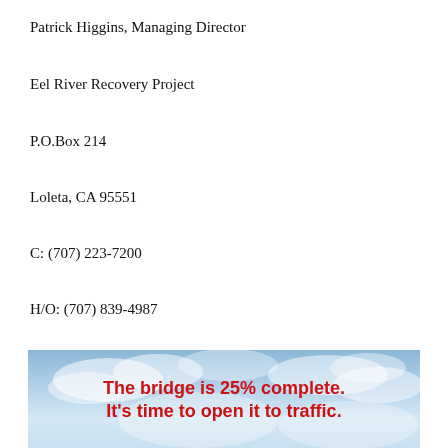Patrick Higgins, Managing Director
Eel River Recovery Project
P.O.Box 214
Loleta, CA 95551
C: (707) 223-7200
H/O: (707) 839-4987
[Figure (illustration): Decorative ornamental divider with wavy scroll design between two horizontal lines]
[Figure (photo): Banner image with sky background and bold red text reading 'The bridge is 25% complete. It's time to open it to traffic.']